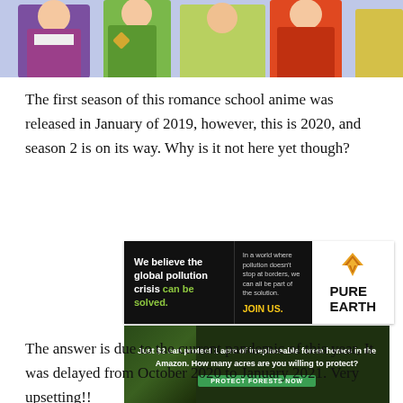[Figure (illustration): Colorful anime characters in Japanese traditional clothing — screenshot from a romance school anime, showing stylized figures in purple, green, and orange kimono-style outfits]
The first season of this romance school anime was released in January of 2019, however, this is 2020, and season 2 is on its way. Why is it not here yet though?
[Figure (other): Pure Earth advertisement: 'We believe the global pollution crisis can be solved.' with tagline 'In a world where pollution doesn't stop at borders, we can all be part of the solution. JOIN US.' and Pure Earth logo]
[Figure (other): Amazon forest conservation ad: 'Just $2 can protect 1 acre of irreplaceable forest homes in the Amazon. How many acres are you willing to protect?' with PROTECT FORESTS NOW button]
The answer is due to the current pandemic of this year, It was delayed from October 2020 to January 2021. Very upsetting!! Anyway, This romantic anime tells the story of a student who la...iful
[Figure (other): Etsy advertisement banner with 'Go To Etsy For More' button]
[Figure (other): NFL Shop advertisement: Free shipping on orders over $25, www.nflshop.com, with navy blue NFL shirt image and forward arrow button]